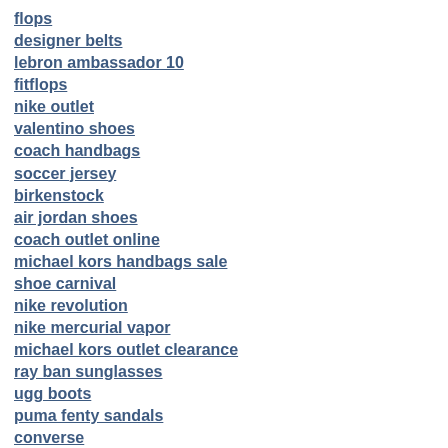flops
designer belts
lebron ambassador 10
fitflops
nike outlet
valentino shoes
coach handbags
soccer jersey
birkenstock
air jordan shoes
coach outlet online
michael kors handbags sale
shoe carnival
nike revolution
nike mercurial vapor
michael kors outlet clearance
ray ban sunglasses
ugg boots
puma fenty sandals
converse